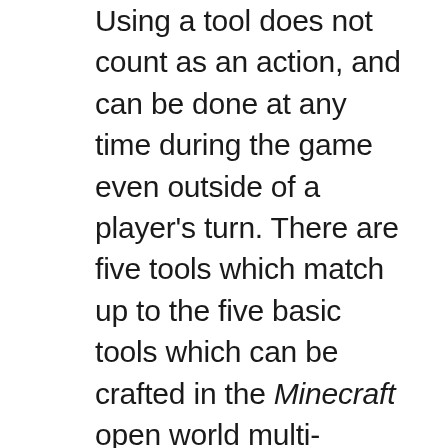Using a tool does not count as an action, and can be done at any time during the game even outside of a player's turn. There are five tools which match up to the five basic tools which can be crafted in the Minecraft open world multi-platform game that we all love: sword, shovel, pick axe, axe, and hoe. The sword allows you to forgo discarding a card when a creeper card is exposed in a resource card pile. The shovel allows you to force one player to have one fewer action on their next turn. The pick axe gives you an extra action on your turn. The axe can be used to provide two wood as a resource. The hoe can be used to take the resource card off of all of the resource card piles directly into the discard pile thereby exposing all of the resource cards